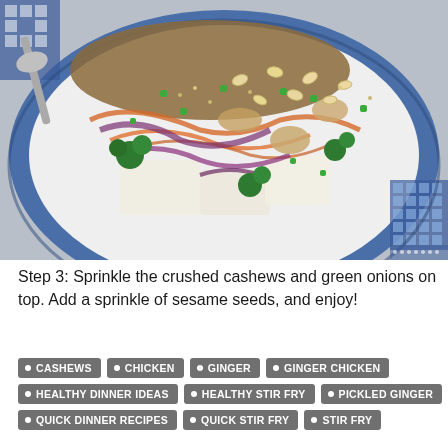[Figure (photo): A decorative blue-and-white patterned plate holding a colorful stir fry dish with broccoli, red cabbage, carrots, tofu, and rice, topped with crushed cashews, diced green onions, and sesame seeds. A serving spoon is visible at the top left.]
Step 3: Sprinkle the crushed cashews and green onions on top. Add a sprinkle of sesame seeds, and enjoy!
CASHEWS
CHICKEN
GINGER
GINGER CHICKEN
HEALTHY DINNER IDEAS
HEALTHY STIR FRY
PICKLED GINGER
QUICK DINNER RECIPES
QUICK STIR FRY
STIR FRY